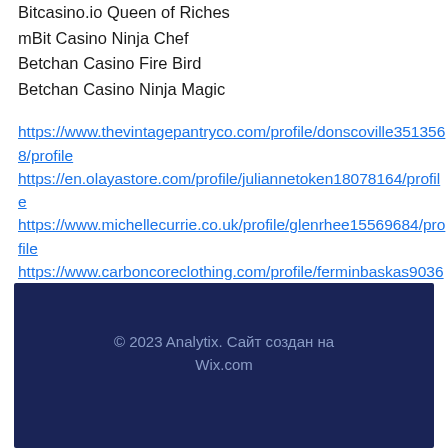Bitcasino.io Queen of Riches
mBit Casino Ninja Chef
Betchan Casino Fire Bird
Betchan Casino Ninja Magic
https://www.thevintagepantryco.com/profile/donscoville3513568/profile https://en.olayastore.com/profile/juliannetoken18078164/profile https://www.michellecurrie.co.uk/profile/glenrhee15569684/profile https://www.carboncoreclothing.com/profile/ferminbaskas9036342/profile
© 2023 Analytix. Сайт создан на Wix.com